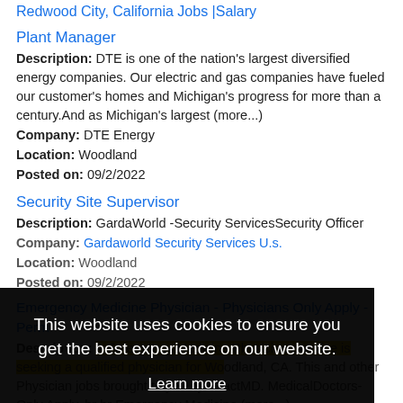Redwood City, California Jobs |Salary
Plant Manager
Description: DTE is one of the nation's largest diversified energy companies. Our electric and gas companies have fueled our customer's homes and Michigan's progress for more than a century.And as Michigan's largest (more...)
Company: DTE Energy
Location: Woodland
Posted on: 09/2/2022
Security Site Supervisor
Description: GardaWorld -Security ServicesSecurity Officer
Company: Gardaworld Security Services U.s.
Location: Woodland
Posted on: 09/2/2022
Emergency Medicine Physician - Physicians Only Apply - Perm
Description: A Emergency Medicine Physician practice is seeking a qualified physician for Woodland, CA. This and other Physician jobs brought to you by ExactMD. MedicalDoctors-Only Apply. br br Emergency Medicine (more...)
Company: VEP Healthcare
[Figure (screenshot): Cookie consent overlay with black background showing 'This website uses cookies to ensure you get the best experience on our website.' with Learn more link and yellow Got it! button]